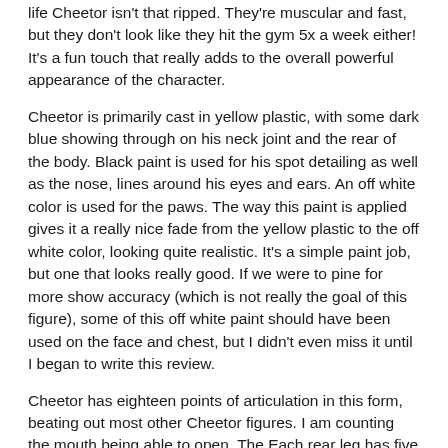life Cheetor isn't that ripped. They're muscular and fast, but they don't look like they hit the gym 5x a week either! It's a fun touch that really adds to the overall powerful appearance of the character.
Cheetor is primarily cast in yellow plastic, with some dark blue showing through on his neck joint and the rear of the body. Black paint is used for his spot detailing as well as the nose, lines around his eyes and ears. An off white color is used for the paws. The way this paint is applied gives it a really nice fade from the yellow plastic to the off white color, looking quite realistic. It's a simple paint job, but one that looks really good. If we were to pine for more show accuracy (which is not really the goal of this figure), some of this off white paint should have been used on the face and chest, but I didn't even miss it until I began to write this review.
Cheetor has eighteen points of articulation in this form, beating out most other Cheetor figures. I am counting the mouth being able to open. The Each rear leg has five points of articulation while the front legs have three. It is cool to see that along with a nice sculpt, this guy can pose as well.
Transformation to Robot Mode:
Detach the tail.
Swing open the spotted panels on the rear legs and remove the star